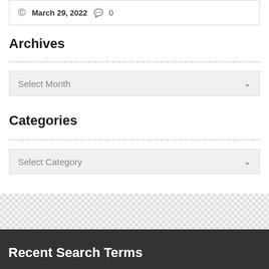© March 29, 2022  💬 0
Archives
Select Month
Categories
Select Category
Recent Search Terms